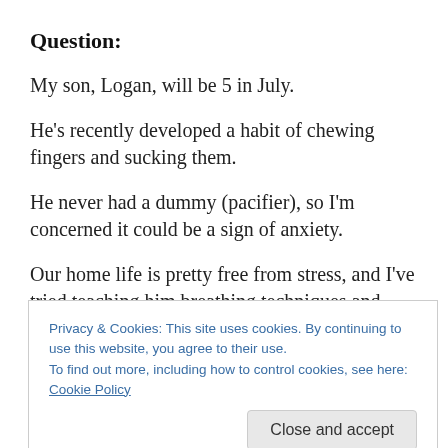Question:
My son, Logan, will be 5 in July.
He's recently developed a habit of chewing fingers and sucking them.
He never had a dummy (pacifier), so I'm concerned it could be a sign of anxiety.
Our home life is pretty free from stress, and I've tried teaching him breathing techniques and kiddy yoga.
Privacy & Cookies: This site uses cookies. By continuing to use this website, you agree to their use.
To find out more, including how to control cookies, see here: Cookie Policy
tired.